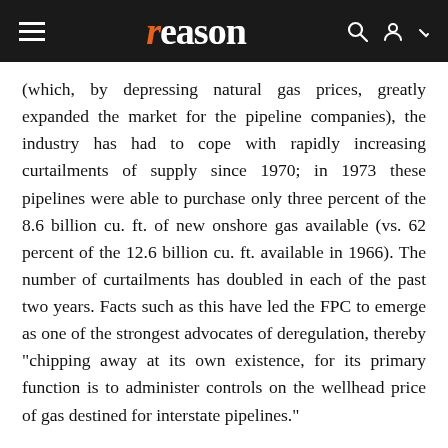reason
(which, by depressing natural gas prices, greatly expanded the market for the pipeline companies), the industry has had to cope with rapidly increasing curtailments of supply since 1970; in 1973 these pipelines were able to purchase only three percent of the 8.6 billion cu. ft. of new onshore gas available (vs. 62 percent of the 12.6 billion cu. ft. available in 1966). The number of curtailments has doubled in each of the past two years. Facts such as this have led the FPC to emerge as one of the strongest advocates of deregulation, thereby "chipping away at its own existence, for its primary function is to administer controls on the wellhead price of gas destined for interstate pipelines."
While the battle to deregulate gas prices continues, a similar fight to decontrol the price of "old oil"—oil from domestic wells that were in production prior to the 1973